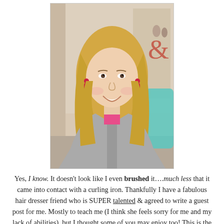[Figure (photo): Portrait photo of a smiling blonde woman with long hair, wearing large pink/red earrings, a grey zip-up jacket over a pink shirt, with decorative items visible in background.]
Yes, I know. It doesn't look like I even brushed it….much less that it came into contact with a curling iron. Thankfully I have a fabulous hair dresser friend who is SUPER talented & agreed to write a guest post for me. Mostly to teach me (I think she feels sorry for me and my lack of abilities), but I thought some of you may enjoy too! This is the beautiful Ashley from Baseball